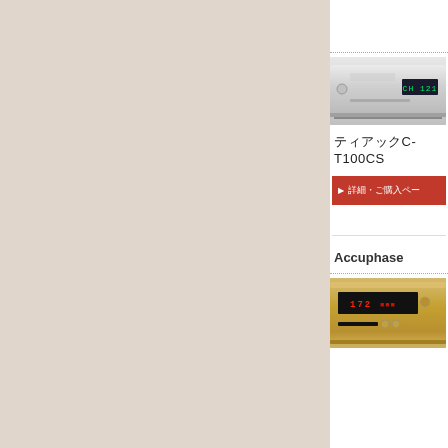[Figure (photo): Silver tuner/CD player device with dark display showing 'CH 121']
ティアックC-T100CS
▶ 詳細・ご購入ペー
Accuphase
[Figure (photo): Gold/champagne colored Accuphase CD player with illuminated display]